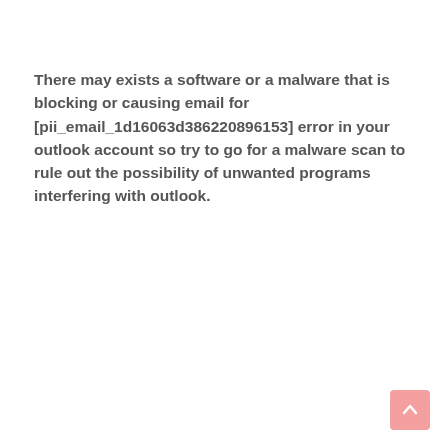There may exists a software or a malware that is blocking or causing email for [pii_email_1d16063d386220896153] error in your outlook account so try to go for a malware scan to rule out the possibility of unwanted programs interfering with outlook.